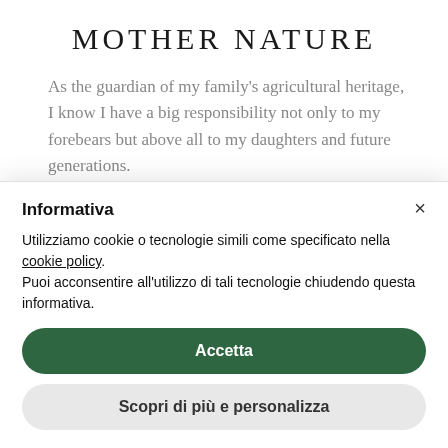Mother Nature
As the guardian of my family's agricultural heritage, I know I have a big responsibility not only to my forebears but above all to my daughters and future generations.
Informativa
Utilizziamo cookie o tecnologie simili come specificato nella cookie policy.
Puoi acconsentire all'utilizzo di tali tecnologie chiudendo questa informativa.
Accetta
Scopri di più e personalizza